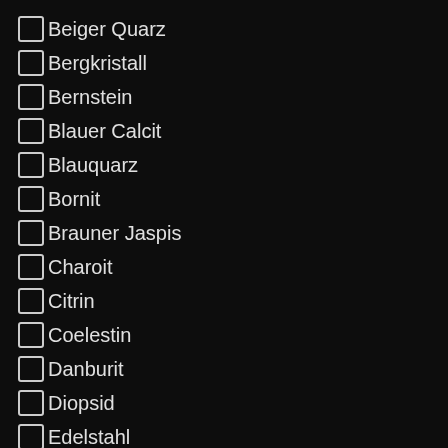Beiger Quarz
Bergkristall
Bernstein
Blauer Calcit
Blauquarz
Bornit
Brauner Jaspis
Charoit
Citrin
Coelestin
Danburit
Diopsid
Edelstahl
Epoxidharz
Erdbeerquarz
Feuercalcit